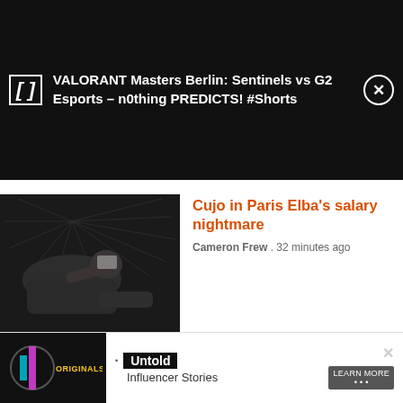[Figure (screenshot): Notification overlay on dark background showing a video notification for 'VALORANT Masters Berlin: Sentinels vs G2 Esports - n0thing PREDICTS! #Shorts' with a bracket icon on the left and a close (X) button on the right]
Cujo in Paris Elba's salary nightmare
Cameron Frew . 32 minutes ago
[Figure (photo): Dark photo of a person lying down reading or looking at something, low-light environment]
[Figure (infographic): Advertisement banner at the bottom showing 'Originals' logo on dark background with text 'Untold Influencer Stories' and a 'LEARN MORE' call to action button]